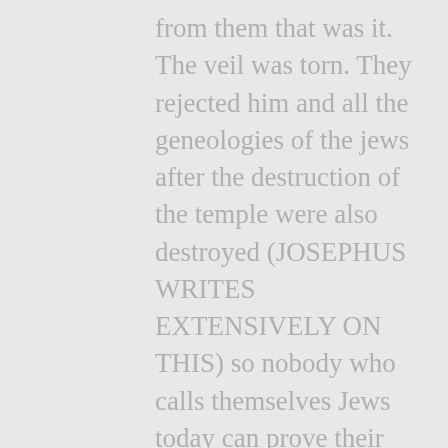from them that was it. The veil was torn. They rejected him and all the geneologies of the jews after the destruction of the temple were also destroyed (JOSEPHUS WRITES EXTENSIVELY ON THIS) so nobody who calls themselves Jews today can prove their geneologies. Those who followed Jesus are the true Jews who live by faith and who comprise the Church and the bride of Christ. As Christians we